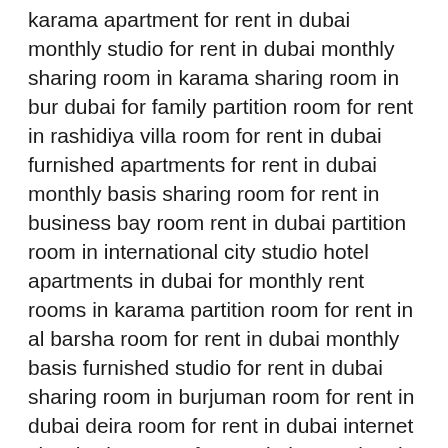karama apartment for rent in dubai monthly studio for rent in dubai monthly sharing room in karama sharing room in bur dubai for family partition room for rent in rashidiya villa room for rent in dubai furnished apartments for rent in dubai monthly basis sharing room for rent in business bay room rent in dubai partition room in international city studio hotel apartments in dubai for monthly rent rooms in karama partition room for rent in al barsha room for rent in dubai monthly basis furnished studio for rent in dubai sharing room in burjuman room for rent in dubai deira room for rent in dubai internet city sharing room for rent in international city dubai room for rent near burjuman furnished apartments dubai monthly basis room for rent in al ghubaiba dubai room for rent in dubai al quoz family room for rent in dubai family room for rent in al barsha family room for rent in al quoz fully furnished apartments for rent in dubai cheap family room for rent in dubai studio for rent dubai room for rent in rashidiya dubai studio apartments for rent in dubai room for rent in financial district dubai sitting room for rent in dubai internet city room for rent